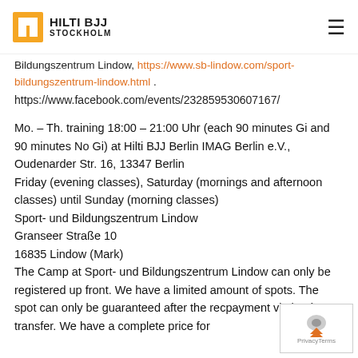HILTI BJJ STOCKHOLM
Bildungszentrum Lindow, https://www.sb-lindow.com/sport-bildungszentrum-lindow.html .
https://www.facebook.com/events/232859530607167/
Mo. – Th. training 18:00 – 21:00 Uhr (each 90 minutes Gi and 90 minutes No Gi) at Hilti BJJ Berlin IMAG Berlin e.V., Oudenarder Str. 16, 13347 Berlin
Friday (evening classes), Saturday (mornings and afternoon classes) until Sunday (morning classes)
Sport- und Bildungszentrum Lindow
Granseer Straße 10
16835 Lindow (Mark)
The Camp at Sport- und Bildungszentrum Lindow can only be registered up front. We have a limited amount of spots. The spot can only be guaranteed after the received payment via bank transfer. We have a complete price for